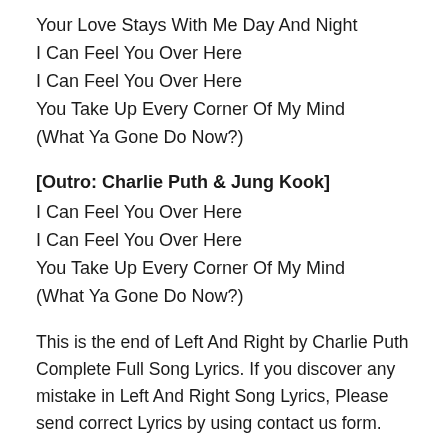Your Love Stays With Me Day And Night
I Can Feel You Over Here
I Can Feel You Over Here
You Take Up Every Corner Of My Mind
(What Ya Gone Do Now?)
[Outro: Charlie Puth & Jung Kook]
I Can Feel You Over Here
I Can Feel You Over Here
You Take Up Every Corner Of My Mind
(What Ya Gone Do Now?)
This is the end of Left And Right by Charlie Puth Complete Full Song Lyrics. If you discover any mistake in Left And Right Song Lyrics, Please send correct Lyrics by using contact us form.